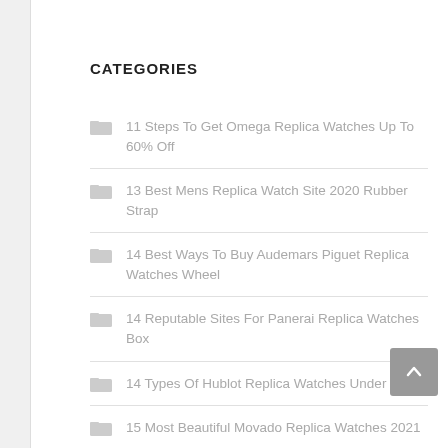CATEGORIES
11 Steps To Get Omega Replica Watches Up To 60% Off
13 Best Mens Replica Watch Site 2020 Rubber Strap
14 Best Ways To Buy Audemars Piguet Replica Watches Wheel
14 Reputable Sites For Panerai Replica Watches Box
14 Types Of Hublot Replica Watches Under $200
15 Most Beautiful Movado Replica Watches 2021
6 Best Genuine Luxury Replica Watches 20% Off
6 Tips For Buying Noob Factory Replica Watches